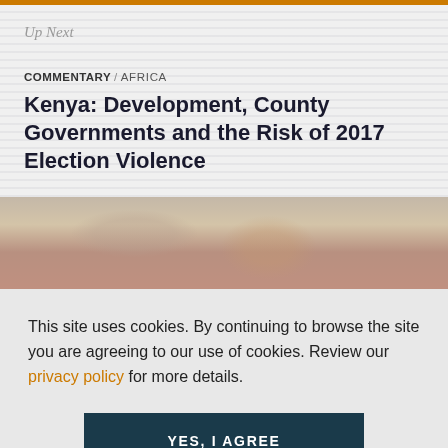Up Next
COMMENTARY / AFRICA
Kenya: Development, County Governments and the Risk of 2017 Election Violence
[Figure (photo): Outdoor photo showing a person in red/pink clothing in a dry, dusty landscape]
This site uses cookies. By continuing to browse the site you are agreeing to our use of cookies. Review our privacy policy for more details.
YES, I AGREE